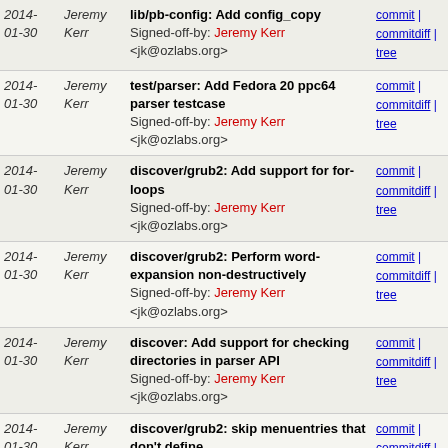2014-01-30 | Jeremy Kerr | lib/pb-config: Add config_copy Signed-off-by: Jeremy Kerr <jk@ozlabs.org> | commit | commitdiff | tree
2014-01-30 | Jeremy Kerr | test/parser: Add Fedora 20 ppc64 parser testcase Signed-off-by: Jeremy Kerr <jk@ozlabs.org> | commit | commitdiff | tree
2014-01-30 | Jeremy Kerr | discover/grub2: Add support for for-loops Signed-off-by: Jeremy Kerr <jk@ozlabs.org> | commit | commitdiff | tree
2014-01-30 | Jeremy Kerr | discover/grub2: Perform word-expansion non-destructively Signed-off-by: Jeremy Kerr <jk@ozlabs.org> | commit | commitdiff | tree
2014-01-30 | Jeremy Kerr | discover: Add support for checking directories in parser API Signed-off-by: Jeremy Kerr <jk@ozlabs.org> | commit | commitdiff | tree
2014-01-30 | Jeremy Kerr | discover/grub2: skip menuentries that don't define... Signed-off-by: Jeremy Kerr <jk@ozlabs.org> | commit | commitdiff | tree
2014-01-30 | Jeremy Kerr | discover/grub: Add feature variable for --id support. Signed-off-by: Jeremy Kerr <jk@ozlabs.org> | commit | commitdiff | tree
2014- | Jeremy | discover/grub2: Use script_env_set... | commit | commitdiff | ...